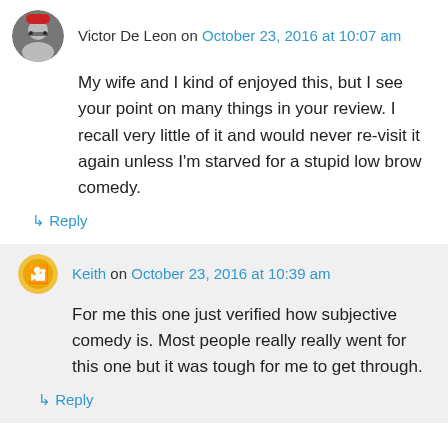Victor De Leon on October 23, 2016 at 10:07 am
My wife and I kind of enjoyed this, but I see your point on many things in your review. I recall very little of it and would never re-visit it again unless I'm starved for a stupid low brow comedy.
↳ Reply
Keith on October 23, 2016 at 10:39 am
For me this one just verified how subjective comedy is. Most people really really went for this one but it was tough for me to get through.
↳ Reply